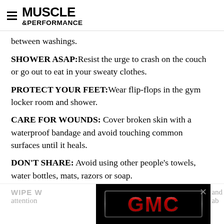MUSCLE & PERFORMANCE
between washings.
SHOWER ASAP: Resist the urge to crash on the couch or go out to eat in your sweaty clothes.
PROTECT YOUR FEET: Wear flip-flops in the gym locker room and shower.
CARE FOR WOUNDS: Cover broken skin with a waterproof bandage and avoid touching common surfaces until it heals.
DON'T SHARE: Avoid using other people's towels, water bottles, mats, razors or soap.
WIPE W... attention... and ab...
[Figure (logo): GMC advertisement banner with red GMC logo on black background]